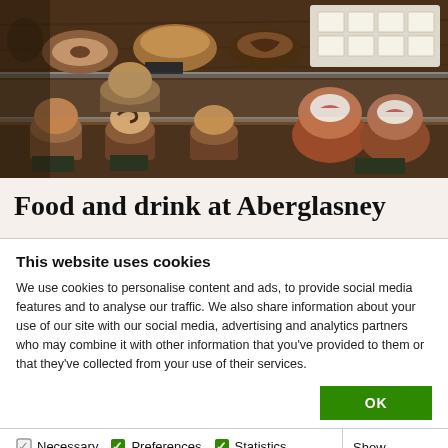[Figure (photo): A bakery display case showing various pastries, cakes, cupcakes and baked goods on shelves with small chalkboard price labels. A tray of white-iced square cake pieces is visible in the top right.]
Food and drink at Aberglasney
This website uses cookies
We use cookies to personalise content and ads, to provide social media features and to analyse our traffic. We also share information about your use of our site with our social media, advertising and analytics partners who may combine it with other information that you've provided to them or that they've collected from your use of their services.
OK
Necessary  Preferences  Statistics  Marketing  Show details